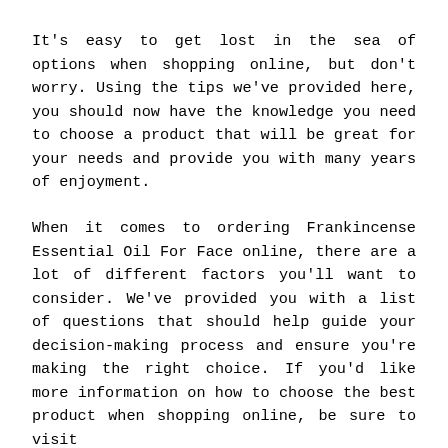It's easy to get lost in the sea of options when shopping online, but don't worry. Using the tips we've provided here, you should now have the knowledge you need to choose a product that will be great for your needs and provide you with many years of enjoyment.
When it comes to ordering Frankincense Essential Oil For Face online, there are a lot of different factors you'll want to consider. We've provided you with a list of questions that should help guide your decision-making process and ensure you're making the right choice. If you'd like more information on how to choose the best product when shopping online, be sure to visit